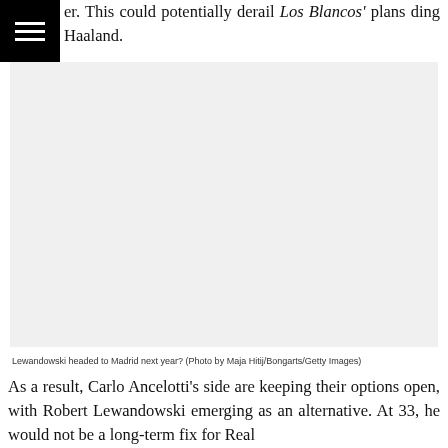er. This could potentially derail Los Blancos' plans ding Haaland.
[Figure (photo): Photograph of Lewandowski, light gray placeholder image]
Lewandowski headed to Madrid next year? (Photo by Maja Hitij/Bongarts/Getty Images)
As a result, Carlo Ancelotti's side are keeping their options open, with Robert Lewandowski emerging as an alternative. At 33, he would not be a long-term fix for Real